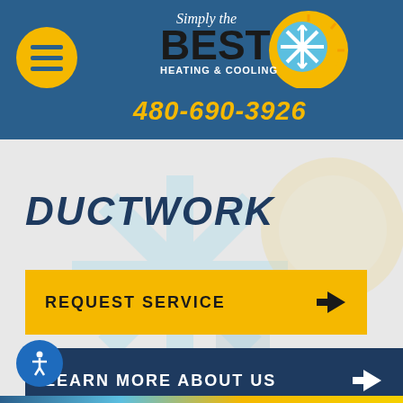[Figure (logo): Simply the Best Heating & Cooling logo with snowflake and sun icon]
480-690-3926
DUCTWORK
REQUEST SERVICE →
LEARN MORE ABOUT US →